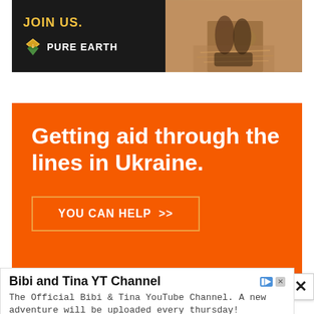[Figure (illustration): Pure Earth charity advertisement with black background on left showing 'JOIN US.' in gold text and Pure Earth diamond logo in white, and a photo on right of hands working with straw/hay material.]
[Figure (illustration): Orange advertisement banner reading 'Getting aid through the lines in Ukraine.' with a 'YOU CAN HELP >>' button outlined in orange-gold on orange background.]
[Figure (illustration): Bibi and Tina YT Channel advertisement with title, description about official YouTube channel, Subscribe button in blue, and ad controls.]